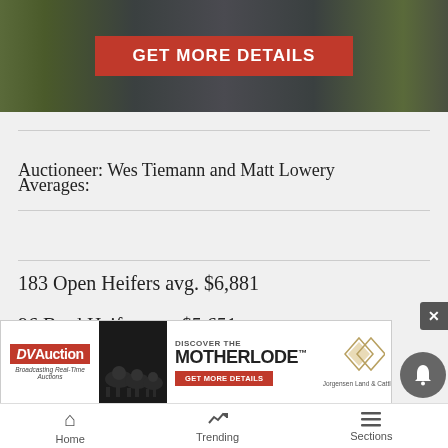[Figure (screenshot): Banner with grass field background and red GET MORE DETAILS button]
Auctioneer: Wes Tiemann and Matt Lowery
Averages:
183 Open Heifers avg. $6,881
96 Bred Heifer avg. $5,651
278 Br...
[Figure (screenshot): DVAuction advertisement banner: Discover the Motherlode, Jorgensen Land & Cattle, GET MORE DETAILS button]
Home    Trending    Sections